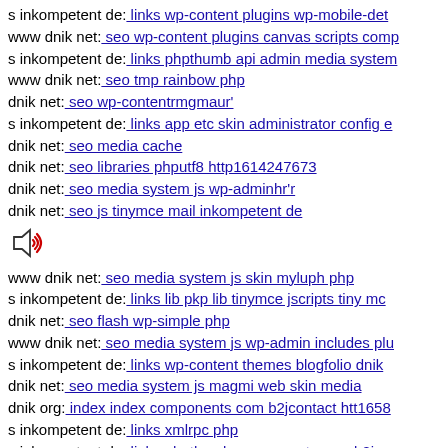s inkompetent de: links wp-content plugins wp-mobile-det
www dnik net: seo wp-content plugins canvas scripts comp
s inkompetent de: links phpthumb api admin media system
www dnik net: seo tmp rainbow php
dnik net: seo wp-contentrmgmaur'
s inkompetent de: links app etc skin administrator config e
dnik net: seo media cache
dnik net: seo libraries phputf8 http1614247673
dnik net: seo media system js wp-adminhr'r
dnik net: seo js tinymce mail inkompetent de
[Figure (other): Speaker/audio icon]
www dnik net: seo media system js skin myluph php
s inkompetent de: links lib pkp lib tinymce jscripts tiny mc
dnik net: seo flash wp-simple php
www dnik net: seo media system js wp-admin includes plu
s inkompetent de: links wp-content themes blogfolio dnik
dnik net: seo media system js magmi web skin media
dnik org: index index components com b2jcontact htt1658
s inkompetent de: links xmlrpc php
s inkompetent de: links phpthumb components com b2jcon